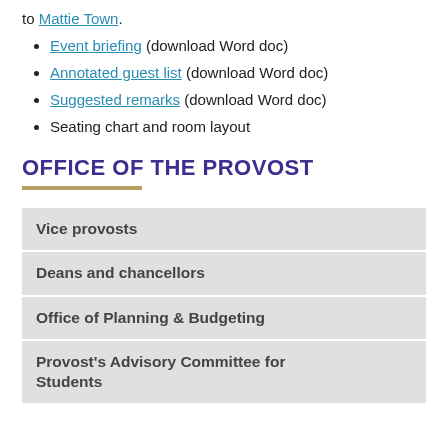to Mattie Town.
Event briefing (download Word doc)
Annotated guest list (download Word doc)
Suggested remarks (download Word doc)
Seating chart and room layout
OFFICE OF THE PROVOST
| Vice provosts |
| Deans and chancellors |
| Office of Planning & Budgeting |
| Provost's Advisory Committee for Students |